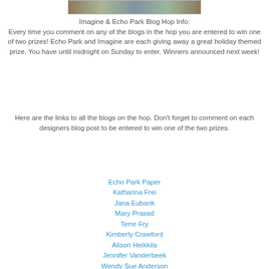[Figure (photo): Partial photo strip showing a winter/holiday outdoor scene]
Imagine & Echo Park Blog Hop Info:
Every time you comment on any of the blogs in the hop you are entered to win one of two prizes! Echo Park and Imagine are each giving away a great holiday themed prize. You have until midnight on Sunday to enter. Winners announced next week!
Here are the links to all the blogs on the hop. Don't forget to comment on each designers blog post to be entered to win one of the two prizes.
Echo Park Paper
Katharina Frei
Jana Eubank
Mary Prasad
Terre Fry
Kimberly Crawford
Alison Heikkila
Jennifer Vanderbeek
Wendy Sue Anderson